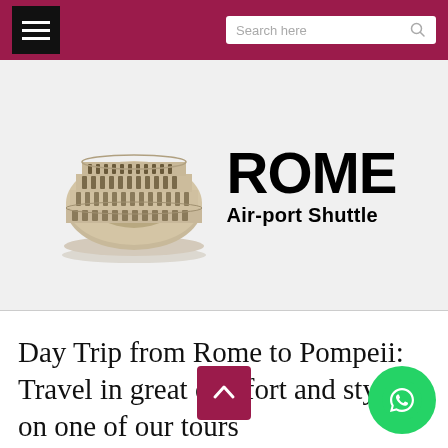Search here
[Figure (logo): Rome Air-port Shuttle logo featuring a 3D rendered Colosseum illustration on the left and bold text 'ROME' with subtitle 'Air-port Shuttle' on the right]
Day Trip from Rome to Pompeii: Travel in great comfort and style on one of our tours